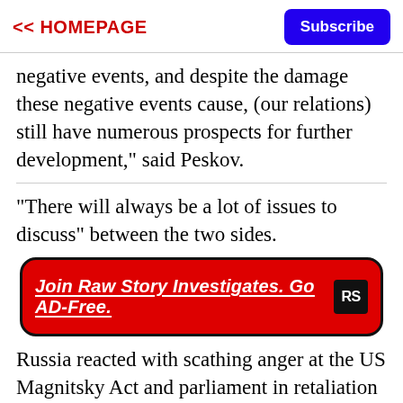<< HOMEPAGE | Subscribe
negative events, and despite the damage these negative events cause, (our relations) still have numerous prospects for further development," said Peskov.
"There will always be a lot of issues to discuss" between the two sides.
[Figure (other): Red banner advertisement for Raw Story Investigates with text 'Join Raw Story Investigates. Go AD-Free.' and RS logo]
Russia reacted with scathing anger at the US Magnitsky Act and parliament in retaliation agreed legislation barring American families from